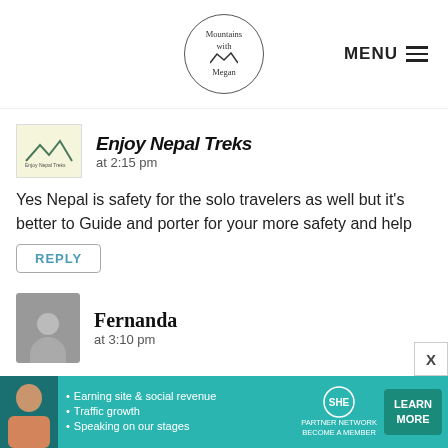Mountains with Megan | MENU
Enjoy Nepal Treks at 2:15 pm
Yes Nepal is safety for the solo travelers as well but it's better to Guide and porter for your more safety and help
REPLY
Fernanda at 3:10 pm
Wild woman! Thank you for your courage! I was thinking the same, to live a natural and full filing experience and do a trek independently and probably i would find companion, or myself. I was wondering if is it safe.. anyways, thank you for writing a of this 🙂